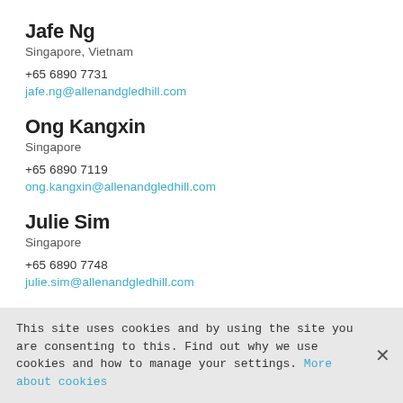Jafe Ng
Singapore, Vietnam
+65 6890 7731
jafe.ng@allenandgledhill.com
Ong Kangxin
Singapore
+65 6890 7119
ong.kangxin@allenandgledhill.com
Julie Sim
Singapore
+65 6890 7748
julie.sim@allenandgledhill.com
This site uses cookies and by using the site you are consenting to this. Find out why we use cookies and how to manage your settings. More about cookies